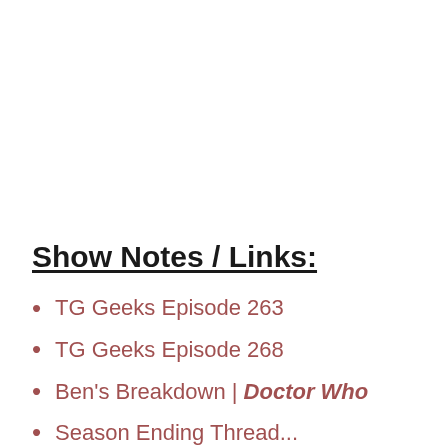Show Notes / Links:
TG Geeks Episode 263
TG Geeks Episode 268
Ben's Breakdown | Doctor Who Season Ending Thread...